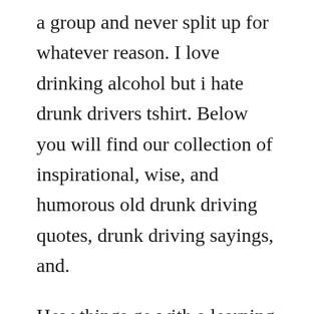a group and never split up for whatever reason. I love drinking alcohol but i hate drunk drivers tshirt. Below you will find our collection of inspirational, wise, and humorous old drunk driving quotes, drunk driving sayings, and.
How things go with a learning or new driver, lets see with our list of funny quotes about new drivers. Our comedy writers have gone the extra mile and created customized messages for friends, brothers, sisters, husbands, wives, dads and moms. If you have